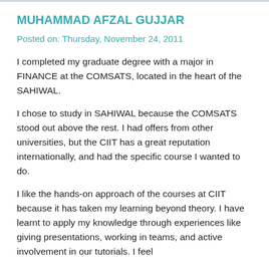MUHAMMAD AFZAL GUJJAR
Posted on: Thursday, November 24, 2011
I completed my graduate degree with a major in FINANCE at the COMSATS, located in the heart of the SAHIWAL.
I chose to study in SAHIWAL because the COMSATS stood out above the rest. I had offers from other universities, but the CIIT has a great reputation internationally, and had the specific course I wanted to do.
I like the hands-on approach of the courses at CIIT because it has taken my learning beyond theory. I have learnt to apply my knowledge through experiences like giving presentations, working in teams, and active involvement in our tutorials. I feel